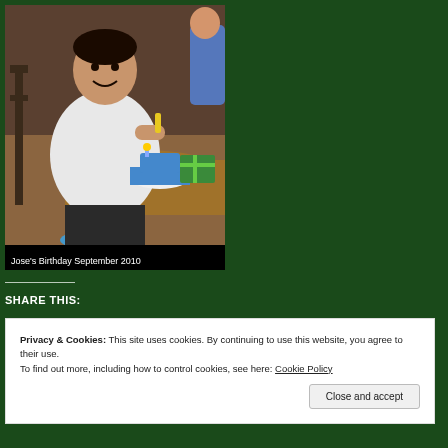[Figure (photo): A man sitting at a wooden table, smiling, holding scissors and working on a birthday cake with blue frosting and decorations. A chair and another person partially visible in the background.]
Jose's Birthday September 2010
SHARE THIS:
Privacy & Cookies: This site uses cookies. By continuing to use this website, you agree to their use.
To find out more, including how to control cookies, see here: Cookie Policy
Close and accept